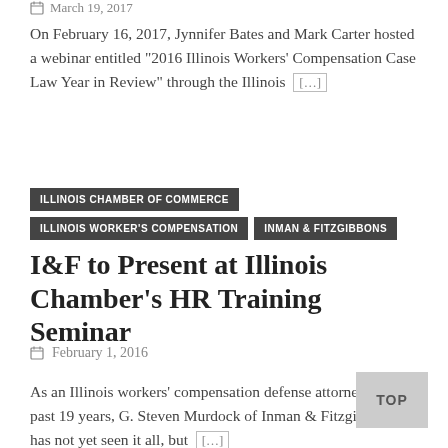March 19, 2017
On February 16, 2017, Jynnifer Bates and Mark Carter hosted a webinar entitled “2016 Illinois Workers’ Compensation Case Law Year in Review” through the Illinois [...]
ILLINOIS CHAMBER OF COMMERCE
ILLINOIS WORKER’S COMPENSATION
INMAN & FITZGIBBONS
I&F to Present at Illinois Chamber’s HR Training Seminar
February 1, 2016
As an Illinois workers’ compensation defense attorney for the past 19 years, G. Steven Murdock of Inman & Fitzgibbons has not yet seen it all, but [...]